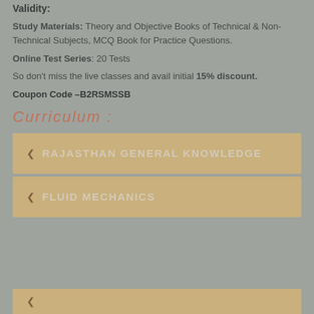Validity:
Study Materials: Theory and Objective Books of Technical & Non-Technical Subjects, MCQ Book for Practice Questions.
Online Test Series: 20 Tests
So don't miss the live classes and avail initial 15% discount.
Coupon Code –B2RSMSSB
Curriculum :
RAJASTHAN GENERAL KNOWLEDGE
FLUID MECHANICS
(partial - cut off)